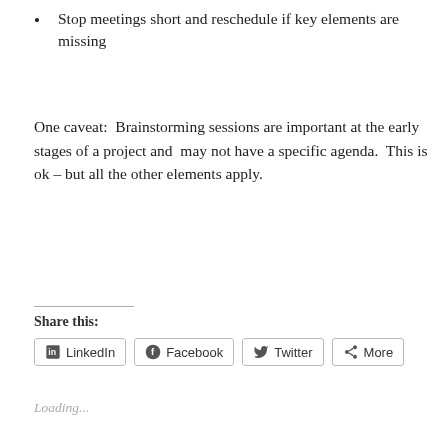Stop meetings short and reschedule if key elements are missing
One caveat:  Brainstorming sessions are important at the early stages of a project and  may not have a specific agenda.  This is ok – but all the other elements apply.
Share this:
LinkedIn  Facebook  Twitter  More
Loading...